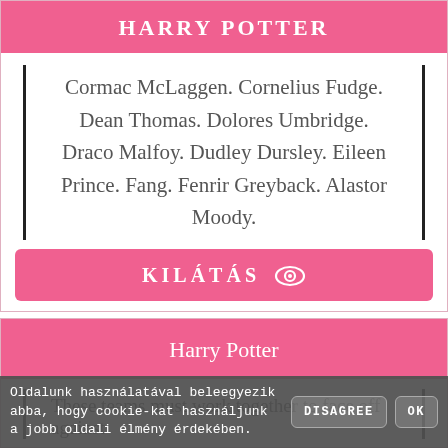HARRY POTTER
Cormac McLaggen. Cornelius Fudge. Dean Thomas. Dolores Umbridge. Draco Malfoy. Dudley Dursley. Eileen Prince. Fang. Fenrir Greyback. Alastor Moody.
KILÁTÁS
Harry Potter
These teams must work together to face off against
Oldalunk használatával beleegyezik abba, hogy cookie-kat használjunk a jobb oldali élmény érdekében.